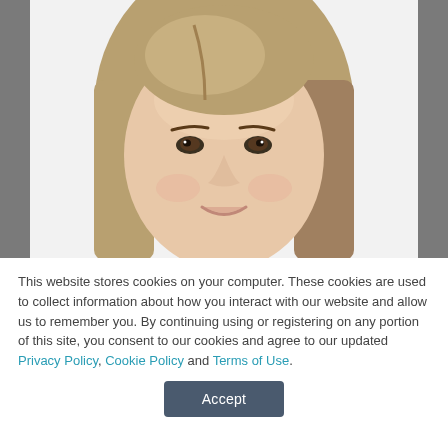[Figure (photo): Portrait photo of a young woman with long straight brown hair, smiling slightly, facing the camera, white background.]
This website stores cookies on your computer. These cookies are used to collect information about how you interact with our website and allow us to remember you. By continuing using or registering on any portion of this site, you consent to our cookies and agree to our updated Privacy Policy, Cookie Policy and Terms of Use.